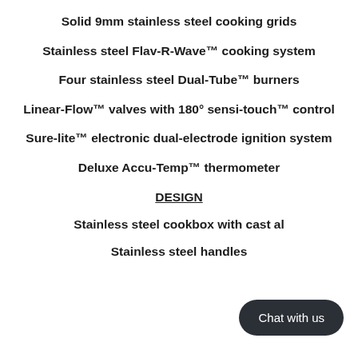Solid 9mm stainless steel cooking grids
Stainless steel Flav-R-Wave™ cooking system
Four stainless steel Dual-Tube™ burners
Linear-Flow™ valves with 180° sensi-touch™ control
Sure-lite™ electronic dual-electrode ignition system
Deluxe Accu-Temp™ thermometer
DESIGN
Stainless steel cookbox with cast al
Stainless steel handles